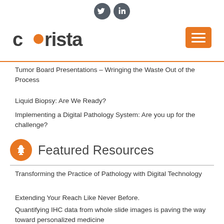[Figure (logo): Social media icons: Twitter and LinkedIn circles in dark gray]
[Figure (logo): Corista logo with orange dot and hamburger menu button in orange]
Tumor Board Presentations – Wringing the Waste Out of the Process
Liquid Biopsy: Are We Ready?
Implementing a Digital Pathology System: Are you up for the challenge?
Featured Resources
Transforming the Practice of Pathology with Digital Technology
Extending Your Reach Like Never Before.
Quantifying IHC data from whole slide images is paving the way toward personalized medicine